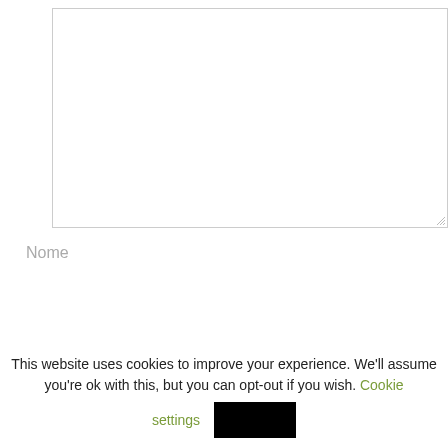[Figure (screenshot): Empty textarea form input box with resize handle at bottom right]
Nome
[Figure (screenshot): Empty text input field for Nome]
This website uses cookies to improve your experience. We'll assume you're ok with this, but you can opt-out if you wish. Cookie settings